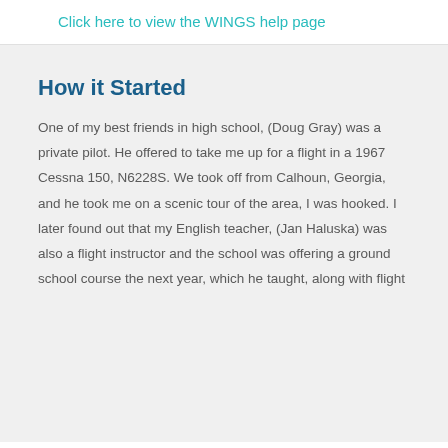Click here to view the WINGS help page
How it Started
One of my best friends in high school, (Doug Gray) was a private pilot. He offered to take me up for a flight in a 1967 Cessna 150, N6228S. We took off from Calhoun, Georgia, and he took me on a scenic tour of the area, I was hooked. I later found out that my English teacher, (Jan Haluska) was also a flight instructor and the school was offering a ground school course the next year, which he taught, along with flight